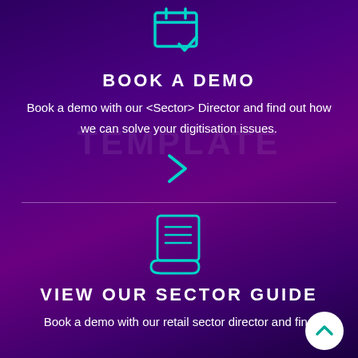[Figure (illustration): Teal outline icon of a calendar/checklist with a checkmark at the bottom right]
BOOK A DEMO
Book a demo with our <Sector> Director and find out how we can solve your digitisation issues.
[Figure (illustration): Teal right-angle chevron arrow pointing right (call-to-action arrow)]
[Figure (illustration): Teal outline icon of a document/scroll with horizontal lines representing text]
VIEW OUR SECTOR GUIDE
Book a demo with our retail sector director and find